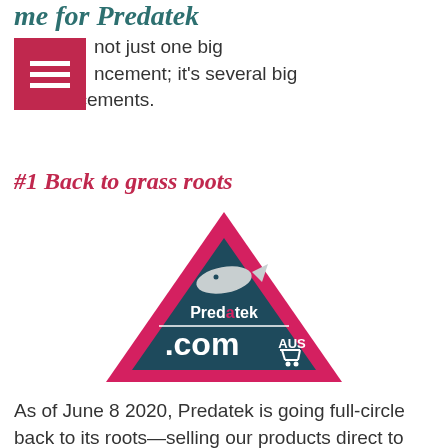me for Predatek
A... not just one big announcement; it's several big announcements.
#1 Back to grass roots
[Figure (logo): Predatek.com AUS logo — a pink/magenta triangle with a dark teal inner triangle, a fish silhouette at top, the word 'Predatek' in white, '.com' in large white text, and 'AUS' with a shopping cart icon]
As of June 8 2020, Predatek is going full-circle back to its roots—selling our products direct to the public